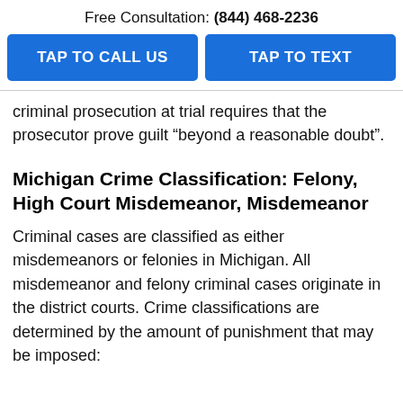Free Consultation: (844) 468-2236
[Figure (other): Two blue buttons: TAP TO CALL US and TAP TO TEXT]
criminal prosecution at trial requires that the prosecutor prove guilt “beyond a reasonable doubt”.
Michigan Crime Classification: Felony, High Court Misdemeanor, Misdemeanor
Criminal cases are classified as either misdemeanors or felonies in Michigan. All misdemeanor and felony criminal cases originate in the district courts. Crime classifications are determined by the amount of punishment that may be imposed: